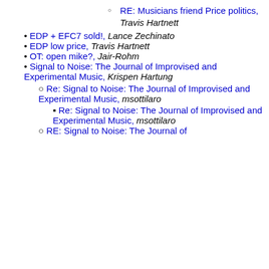RE: Musicians friend Price politics, Travis Hartnett
EDP + EFC7 sold!, Lance Zechinato
EDP low price, Travis Hartnett
OT: open mike?, Jair-Rohm
Signal to Noise: The Journal of Improvised and Experimental Music, Krispen Hartung
Re: Signal to Noise: The Journal of Improvised and Experimental Music, msottilaro
Re: Signal to Noise: The Journal of Improvised and Experimental Music, msottilaro
RE: Signal to Noise: The Journal of